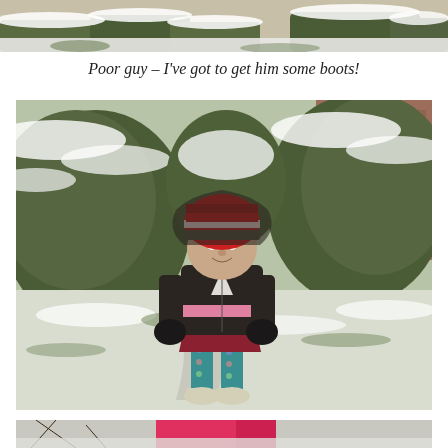[Figure (photo): Top portion of a snowy outdoor scene with snow-covered bushes and ground, partially cropped at top of page]
Poor guy – I've got to get him some boots!
[Figure (photo): A young child standing outside in snowy conditions, wearing a red and grey striped beanie hat, dark jacket with pink stripe, dark gloves, red skirt, teal and patterned leggings, and light-colored boots. Snow-covered bushes and lawn visible in background.]
[Figure (photo): Bottom partial photo showing beginning of another snowy outdoor scene with pink jacket visible, cropped at bottom of page]